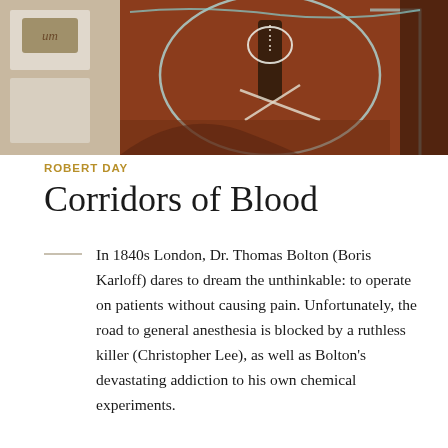[Figure (illustration): Book cover artwork showing medical/anatomical illustration with brown and teal colors, depicting surgical instruments and human anatomy in a stylized manner. Text 'COLLECTION' visible vertically on left side.]
ROBERT DAY
Corridors of Blood
In 1840s London, Dr. Thomas Bolton (Boris Karloff) dares to dream the unthinkable: to operate on patients without causing pain. Unfortunately, the road to general anesthesia is blocked by a ruthless killer (Christopher Lee), as well as Bolton's devastating addiction to his own chemical experiments.